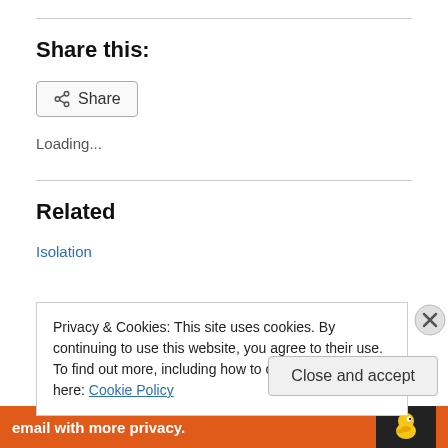Share this:
[Figure (other): Share button with share icon]
Loading...
Related
Isolation
Privacy & Cookies: This site uses cookies. By continuing to use this website, you agree to their use.
To find out more, including how to control cookies, see here: Cookie Policy
Close and accept
email with more privacy.